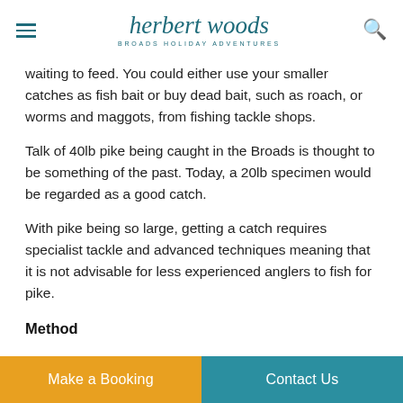herbert woods BROADS HOLIDAY ADVENTURES
waiting to feed. You could either use your smaller catches as fish bait or buy dead bait, such as roach, or worms and maggots, from fishing tackle shops.
Talk of 40lb pike being caught in the Broads is thought to be something of the past. Today, a 20lb specimen would be regarded as a good catch.
With pike being so large, getting a catch requires specialist tackle and advanced techniques meaning that it is not advisable for less experienced anglers to fish for pike.
Method
Make a Booking   Contact Us